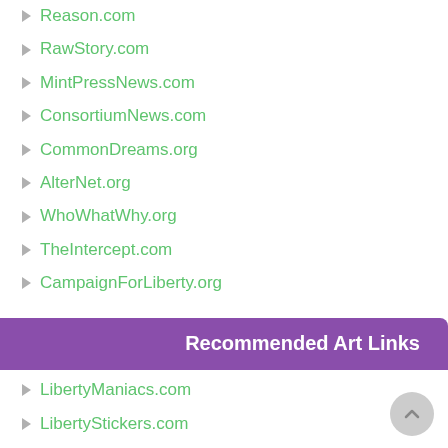Reason.com
RawStory.com
MintPressNews.com
ConsortiumNews.com
CommonDreams.org
AlterNet.org
WhoWhatWhy.org
TheIntercept.com
CampaignForLiberty.org
Recommended Art Links
LibertyManiacs.com
LibertyStickers.com
GrrrGraphics.com